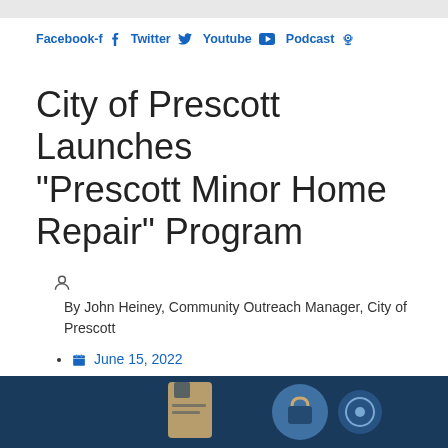Facebook-f  Twitter  Youtube  Podcast
City of Prescott Launches “Prescott Minor Home Repair” Program
By John Heiney, Community Outreach Manager, City of Prescott
June 15, 2022
12:14 am
[Figure (illustration): Dark blue banner at the bottom with partially visible icons related to social media or online services]